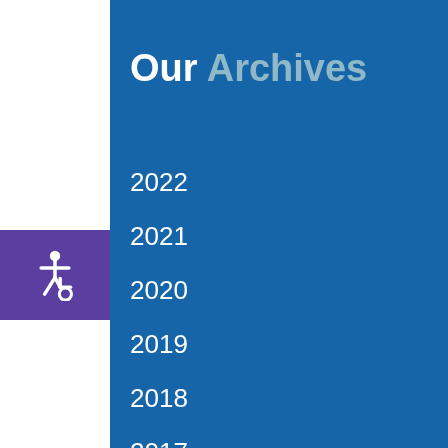Our Archives
2022
2021
2020
2019
2018
2017
2016